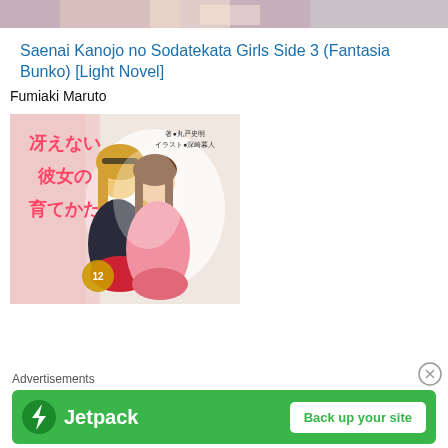[Figure (photo): Top strip showing partial anime illustration of characters]
Saenai Kanojo no Sodatekata Girls Side 3 (Fantasia Bunko) [Light Novel]
Fumiaki Maruto
[Figure (illustration): Light novel cover art for Saenai Kanojo no Sodatekata volume 12 showing two anime girls, one blonde and one brunette, with Japanese text and author credits 丸戸史明 and 深崎暮人]
Advertisements
[Figure (screenshot): Jetpack advertisement banner with green background showing Jetpack logo and 'Back up your site' button]